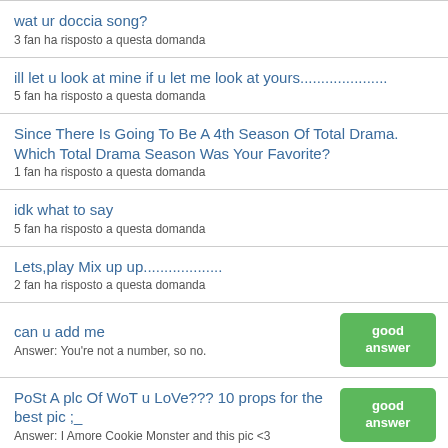wat ur doccia song?
3 fan ha risposto a questa domanda
ill let u look at mine if u let me look at yours...................
5 fan ha risposto a questa domanda
Since There Is Going To Be A 4th Season Of Total Drama. Which Total Drama Season Was Your Favorite?
1 fan ha risposto a questa domanda
idk what to say
5 fan ha risposto a questa domanda
Lets,play Mix up up...................
2 fan ha risposto a questa domanda
can u add me
Answer: You're not a number, so no.
PoSt A plc Of WoT u LoVe??? 10 props for the best pic ;_
Answer: I Amore Cookie Monster and this pic <3
What do te think of fanpop?
12 fan ha risposto a questa domanda
what are your superiore, in alto five animali and songs?